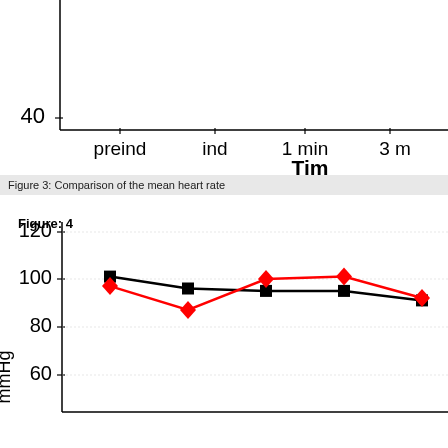[Figure (line-chart): Partial view of top chart showing x-axis labels: preind, ind, 1 min, 3 m and y-axis value 40. X-axis label: Tim...]
Figure 3: Comparison of the mean heart rate
[Figure (line-chart): Line chart Figure 4 showing two series (black squares and red diamonds) plotting values from approximately 87 to 101 mmHg across time points. Y-axis shows 60, 80, 100, 120.]